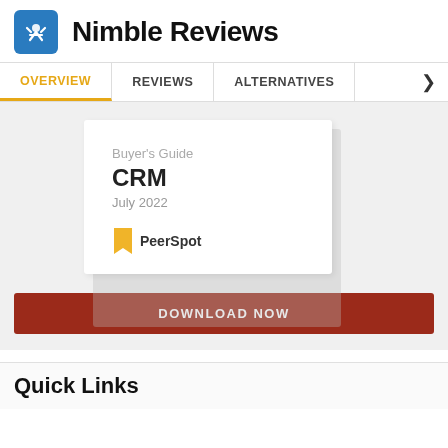Nimble Reviews
[Figure (logo): Nimble logo - blue square with white figure/star icon]
OVERVIEW  REVIEWS  ALTERNATIVES
[Figure (screenshot): Buyer's Guide CRM July 2022 PeerSpot card with shadow, shown as popup/modal overlay]
Buyer's Guide
CRM
July 2022
[Figure (logo): PeerSpot logo - yellow bookmark/flag icon followed by PeerSpot text]
DOWNLOAD NOW
Quick Links